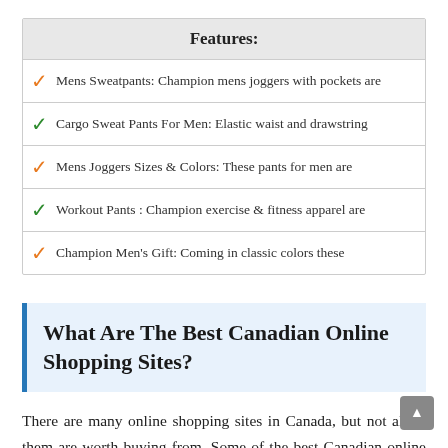Features:
Mens Sweatpants: Champion mens joggers with pockets are
Cargo Sweat Pants For Men: Elastic waist and drawstring
Mens Joggers Sizes & Colors: These pants for men are
Workout Pants : Champion exercise & fitness apparel are
Champion Men's Gift: Coming in classic colors these
What Are The Best Canadian Online Shopping Sites?
There are many online shopping sites in Canada, but not all of them are worth buying from. Some of the best Canadian online shopping sites are based on their quality, customer service, and